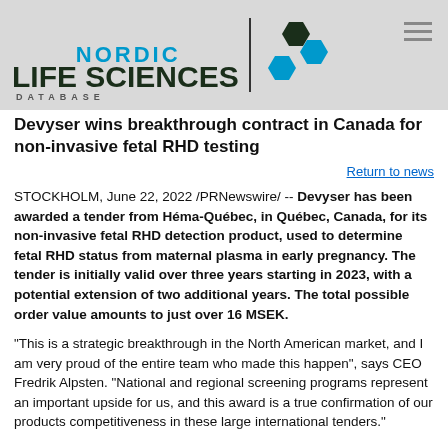[Figure (logo): Nordic Life Sciences Database logo with hexagon graphic and vertical divider]
Devyser wins breakthrough contract in Canada for non-invasive fetal RHD testing
Return to news
STOCKHOLM, June 22, 2022 /PRNewswire/ -- Devyser has been awarded a tender from Héma-Québec, in Québec, Canada, for its non-invasive fetal RHD detection product, used to determine fetal RHD status from maternal plasma in early pregnancy. The tender is initially valid over three years starting in 2023, with a potential extension of two additional years. The total possible order value amounts to just over 16 MSEK.
"This is a strategic breakthrough in the North American market, and I am very proud of the entire team who made this happen", says CEO Fredrik Alpsten. "National and regional screening programs represent an important upside for us, and this award is a true confirmation of our products competitiveness in these large international tenders."